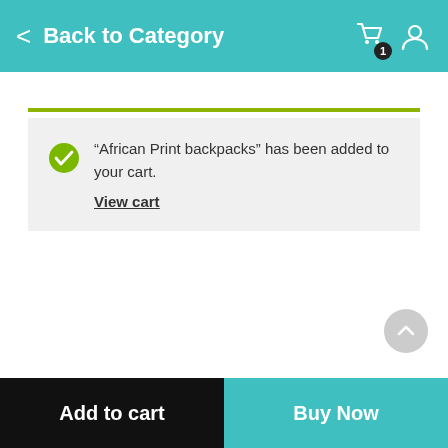Back to Category
“African Print backpacks” has been added to your cart. View cart
[Figure (screenshot): Scroll to top button (up arrow) in gray circle]
Add to cart | Buy Now